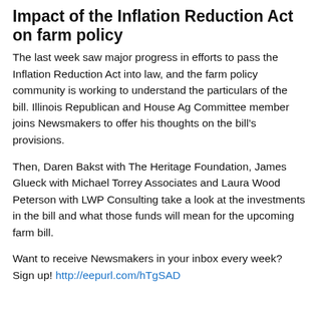Impact of the Inflation Reduction Act on farm policy
The last week saw major progress in efforts to pass the Inflation Reduction Act into law, and the farm policy community is working to understand the particulars of the bill. Illinois Republican and House Ag Committee member joins Newsmakers to offer his thoughts on the bill's provisions.
Then, Daren Bakst with The Heritage Foundation, James Glueck with Michael Torrey Associates and Laura Wood Peterson with LWP Consulting take a look at the investments in the bill and what those funds will mean for the upcoming farm bill.
Want to receive Newsmakers in your inbox every week? Sign up! http://eepurl.com/hTgSAD